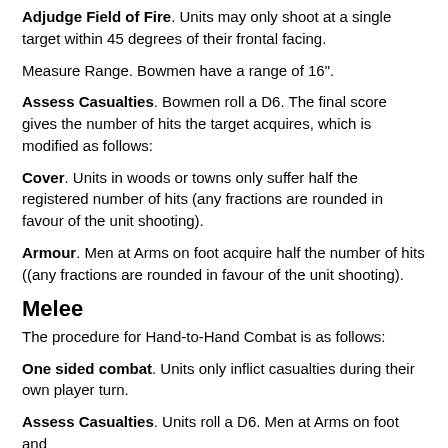Adjudge Field of Fire. Units may only shoot at a single target within 45 degrees of their frontal facing.
Measure Range. Bowmen have a range of 16".
Assess Casualties. Bowmen roll a D6. The final score gives the number of hits the target acquires, which is modified as follows:
Cover. Units in woods or towns only suffer half the registered number of hits (any fractions are rounded in favour of the unit shooting).
Armour. Men at Arms on foot acquire half the number of hits ((any fractions are rounded in favour of the unit shooting).
Melee
The procedure for Hand-to-Hand Combat is as follows:
One sided combat. Units only inflict casualties during their own player turn.
Assess Casualties. Units roll a D6. Men at Arms on foot and